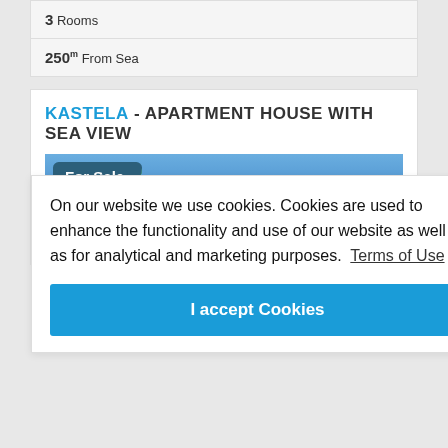3 Rooms
250m From Sea
KASTELA - APARTMENT HOUSE WITH SEA VIEW
[Figure (photo): Property photo showing blue sky and coastal scenery, with a 'For Sale' badge overlay in the top-left corner]
On our website we use cookies. Cookies are used to enhance the functionality and use of our website as well as for analytical and marketing purposes. Terms of Use
I accept Cookies
Croatian real estate for sale. We are selling a house in